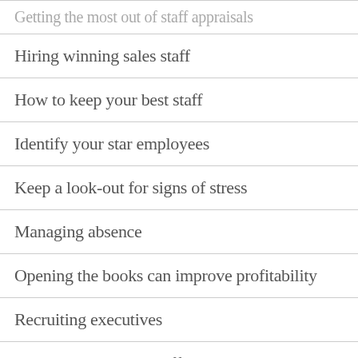Getting the most out of staff appraisals
Hiring winning sales staff
How to keep your best staff
Identify your star employees
Keep a look-out for signs of stress
Managing absence
Opening the books can improve profitability
Recruiting executives
Recruiting the right staff
The do's and don'ts of incentive schemes